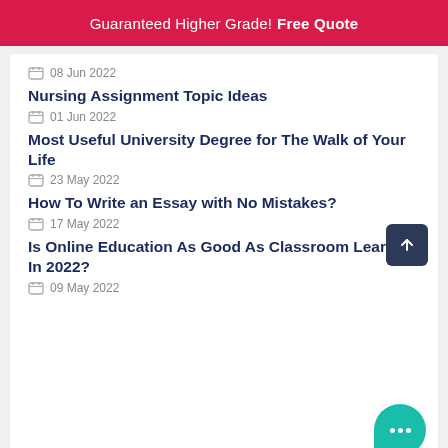Guaranteed Higher Grade! Free Quote
08 Jun 2022
Nursing Assignment Topic Ideas
01 Jun 2022
Most Useful University Degree for The Walk of Your Life
23 May 2022
How To Write an Essay with No Mistakes?
17 May 2022
Is Online Education As Good As Classroom Learning In 2022?
09 May 2022